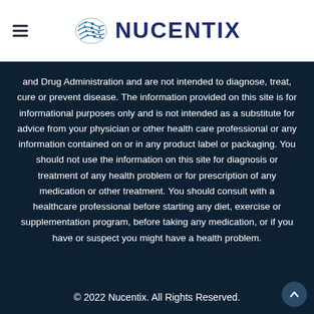[Figure (logo): Nucentix logo with stylized circuit/neural graphic and brand name in dark navy blue]
and Drug Administration and are not intended to diagnose, treat, cure or prevent disease. The information provided on this site is for informational purposes only and is not intended as a substitute for advice from your physician or other health care professional or any information contained on or in any product label or packaging. You should not use the information on this site for diagnosis or treatment of any health problem or for prescription of any medication or other treatment. You should consult with a healthcare professional before starting any diet, exercise or supplementation program, before taking any medication, or if you have or suspect you might have a health problem.
© 2022 Nucentix. All Rights Reserved.